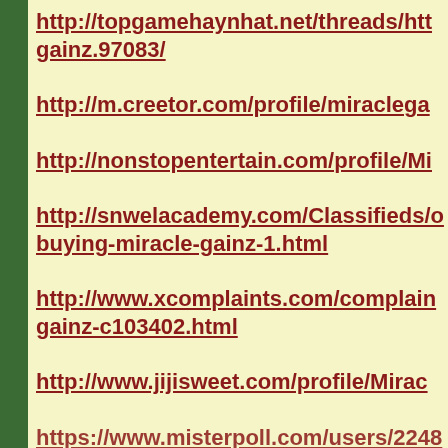http://topgamehaynhat.net/threads/htt gainz.97083/
http://m.creetor.com/profile/miraclega
http://nonstopentertain.com/profile/Mi
http://snwelacademy.com/Classifieds/o buying-miracle-gainz-1.html
http://www.xcomplaints.com/complain gainz-c103402.html
http://www.jijisweet.com/profile/Mirac
https://www.misterpoll.com/users/2248